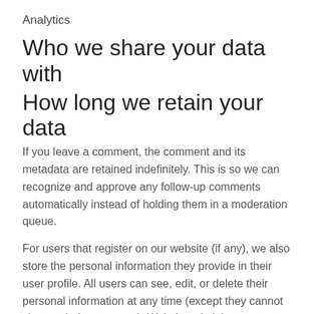Analytics
Who we share your data with
How long we retain your data
If you leave a comment, the comment and its metadata are retained indefinitely. This is so we can recognize and approve any follow-up comments automatically instead of holding them in a moderation queue.
For users that register on our website (if any), we also store the personal information they provide in their user profile. All users can see, edit, or delete their personal information at any time (except they cannot change their username). Website administrators can also see and edit that information.